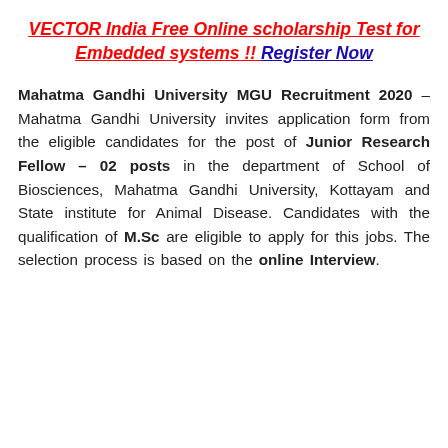VECTOR India Free Online scholarship Test for Embedded systems !! Register Now
Mahatma Gandhi University MGU Recruitment 2020 – Mahatma Gandhi University invites application form from the eligible candidates for the post of Junior Research Fellow – 02 posts in the department of School of Biosciences, Mahatma Gandhi University, Kottayam and State institute for Animal Disease. Candidates with the qualification of M.Sc are eligible to apply for this jobs. The selection process is based on the online Interview.